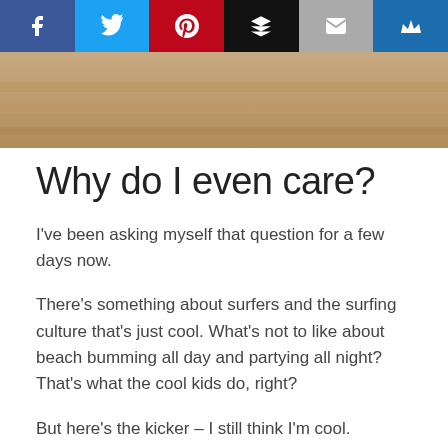[Figure (screenshot): Social share bar with Facebook, Twitter, Pinterest, Buffer, Email, and Kindness icons]
[Figure (photo): Sandy beach/surfboard texture hero image, tan and beige tones]
Why do I even care?
I've been asking myself that question for a few days now.
There's something about surfers and the surfing culture that's just cool. What's not to like about beach bumming all day and partying all night? That's what the cool kids do, right?
But here's the kicker – I still think I'm cool.
Yes, I know, I'm a 36 year old father of two who has a hard time staying awake past 9:00. But, I still rock my snow and skate gear and my Reef flip flops have a cool